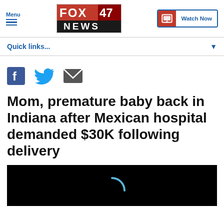FOX 47 NEWS
Quick links...
[Figure (other): Social sharing icons: Facebook, Twitter, Email]
Mom, premature baby back in Indiana after Mexican hospital demanded $30K following delivery
[Figure (other): Video thumbnail with loading spinner on black background]